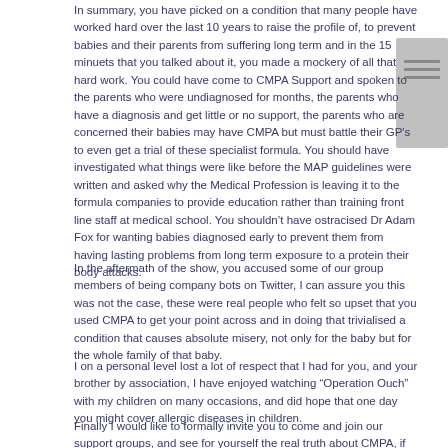In summary, you have picked on a condition that many people have worked hard over the last 10 years to raise the profile of, to prevent babies and their parents from suffering long term and in the 15 minuets that you talked about it, you made a mockery of all that hard work. You could have come to CMPA Support and spoken to the parents who were undiagnosed for months, the parents who have a diagnosis and get little or no support, the parents who are concerned their babies may have CMPA but must battle their GP's to even get a trial of these specialist formula. You should have investigated what things were like before the MAP guidelines were written and asked why the Medical Profession is leaving it to the formula companies to provide education rather than training front line staff at medical school. You shouldn't have ostracised Dr Adam Fox for wanting babies diagnosed early to prevent them from having lasting problems from long term exposure to a protein their body attacks.
In the aftermath of the show, you accused some of our group members of being company bots on Twitter, I can assure you this was not the case, these were real people who felt so upset that you used CMPA to get your point across and in doing that trivialised a condition that causes absolute misery, not only for the baby but for the whole family of that baby.
I on a personal level lost a lot of respect that I had for you, and your brother by association, I have enjoyed watching “Operation Ouch” with my children on many occasions, and did hope that one day you might cover allergic diseases in children.
Finally I would like to formally invite you to come and join our support groups, and see for yourself the real truth about CMPA, if you really feel the increase in diagnosis has been in some way exasperated by the formula companies, come and see what the real issues are and use your celebrity influence to change it,